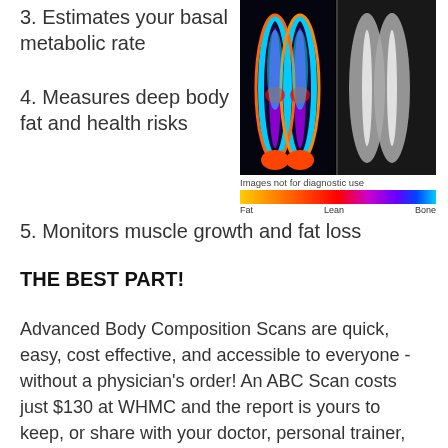3. Estimates your basal metabolic rate
[Figure (photo): DEXA scan image showing two color-coded leg scans side by side on black background, with a color gradient legend bar below labeled Fat, Lean, Bone]
Images not for diagnostic use
4. Measures deep body fat and health risks
5. Monitors muscle growth and fat loss
THE BEST PART!
Advanced Body Composition Scans are quick, easy, cost effective, and accessible to everyone - without a physician's order! An ABC Scan costs just $130 at WHMC and the report is yours to keep, or share with your doctor, personal trainer, and/or your dietitian.